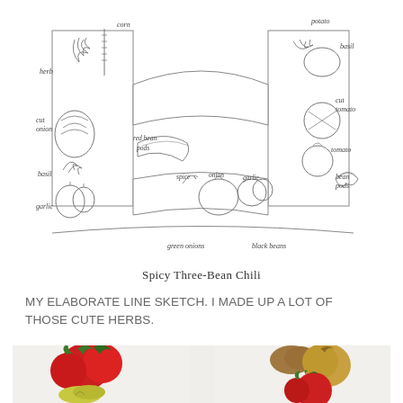[Figure (illustration): Hand-drawn line sketch of a decorative arrangement labeled 'Spicy Three-Bean Chili'. The sketch shows various vegetables and ingredients with handwritten labels including: corn, potato, basil, herb, cut tomato, cut onion, tomato, red bean pods, bean pods, spice, onion, garlic, basil, garlic, green onions, black beans.]
Spicy Three-Bean Chili
MY ELABORATE LINE SKETCH. I MADE UP A LOT OF THOSE CUTE HERBS.
[Figure (photo): Two side-by-side color photographs of vegetables. Left photo shows red bell peppers with green leaves and a yellow-green squash/gourd. Right photo shows a potato, onion, tomato and other vegetables grouped together.]